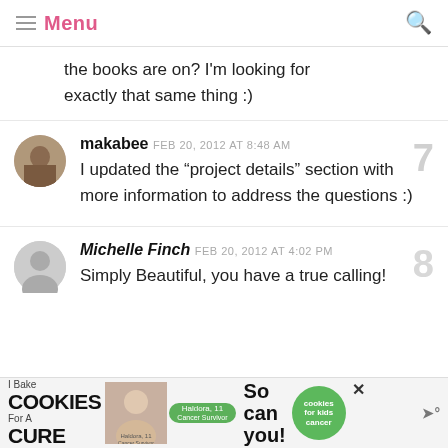Menu [hamburger icon] [search icon]
the books are on? I'm looking for exactly that same thing :)
makabee  FEB 20, 2012 AT 8:48 AM
I updated the “project details” section with more information to address the questions :)
Michelle Finch  FEB 20, 2012 AT 4:02 PM
Simply Beautiful, you have a true calling!
[Figure (infographic): Advertisement banner: I Bake COOKIES For A CURE, featuring Haldora 11 Cancer Survivor, So can you! cookies for kids cancer logo]